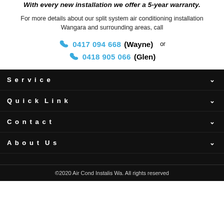With every new installation we offer a 5-year warranty.
For more details about our split system air conditioning installation Wangara and surrounding areas, call
0417 094 668 (Wayne) or 0418 905 066 (Glen)
Service
Quick Link
Contact
About Us
©2020 Air Cond Instalis Wa. All rights reserved